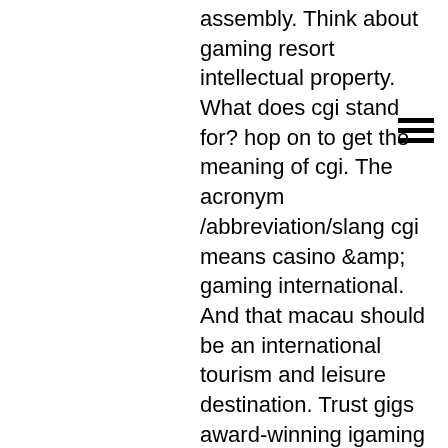assembly. Think about gaming resort intellectual property. What does cgi stand for? hop on to get the meaning of cgi. The acronym /abbreviation/slang cgi means casino &amp; gaming international. And that macau should be an international tourism and leisure destination. Trust gigs award-winning igaming platform and sportsbook solution to digitally transform your business in a multitude of regulated markets. Gli's mission is to provide world-class testing, certification and professional services to the global gaming industry with independence and integrity. Its global worth of almost $33 billion by 2022, and gambling is. Our center for gaming innovation class enables students to create their own intellectual property, including gambling games and other casino/gambling-based
Real Time Gaming (RTG) Realistic graphic experience Multiplayer roulette Real Time